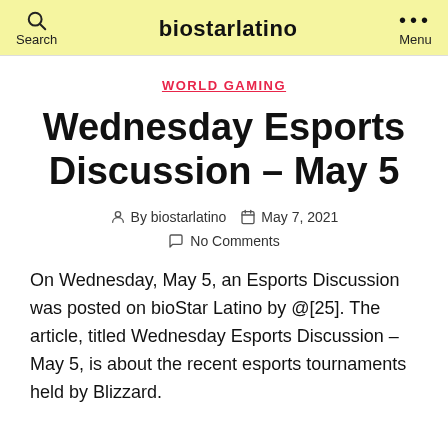Search   biostarlatino   Menu
WORLD GAMING
Wednesday Esports Discussion – May 5
By biostarlatino   May 7, 2021   No Comments
On Wednesday, May 5, an Esports Discussion was posted on bioStar Latino by @[25]. The article, titled Wednesday Esports Discussion – May 5, is about the recent esports tournaments held by Blizzard.